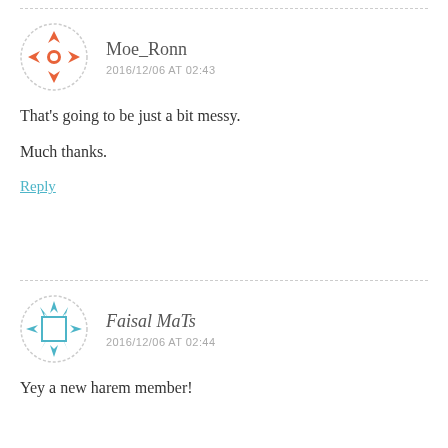Moe_Ronn
2016/12/06 AT 02:43
That's going to be just a bit messy.

Much thanks.
Reply
Faisal MaTs
2016/12/06 AT 02:44
Yey a new harem member!